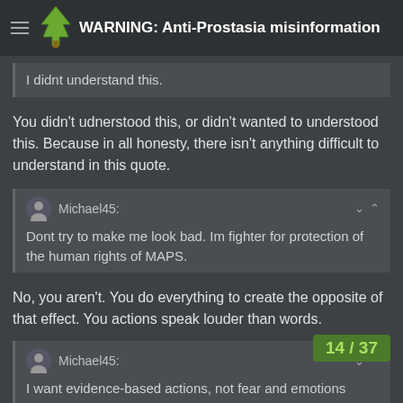WARNING: Anti-Prostasia misinformation
I didnt understand this.
You didn't udnerstood this, or didn't wanted to understood this. Because in all honesty, there isn't anything difficult to understand in this quote.
Michael45: Dont try to make me look bad. Im fighter for protection of the human rights of MAPS.
No, you aren't. You do everything to create the opposite of that effect. You actions speak louder than words.
Michael45: I want evidence-based actions, not fear and emotions
14 / 37